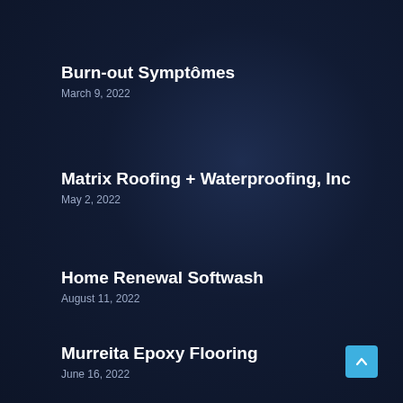Burn-out Symptômes
March 9, 2022
Matrix Roofing + Waterproofing, Inc
May 2, 2022
Home Renewal Softwash
August 11, 2022
Murreita Epoxy Flooring
June 16, 2022
Absolute Junk Removal
May 9, 2022